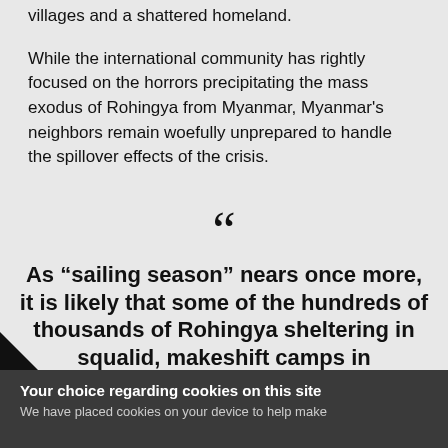villages and a shattered homeland.
While the international community has rightly focused on the horrors precipitating the mass exodus of Rohingya from Myanmar, Myanmar’s neighbors remain woefully unprepared to handle the spillover effects of the crisis.
“As “sailing season” nears once more, it is likely that some of the hundreds of thousands of Rohingya sheltering in squalid, makeshift camps in Bangladesh will attempt the potentially deadly journeys across the Bay of Bengal and Andaman Sea. Despite
Your choice regarding cookies on this site
We have placed cookies on your device to help make